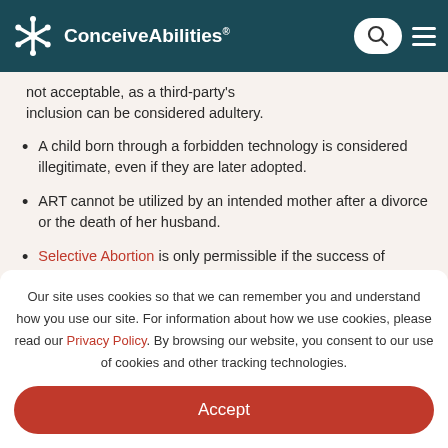ConceiveAbilities
not acceptable, as a third-party's inclusion can be considered adultery.
A child born through a forbidden technology is considered illegitimate, even if they are later adopted.
ART cannot be utilized by an intended mother after a divorce or the death of her husband.
Selective Abortion is only permissible if the success of pregnancy is slim, or if the
Our site uses cookies so that we can remember you and understand how you use our site. For information about how we use cookies, please read our Privacy Policy. By browsing our website, you consent to our use of cookies and other tracking technologies.
Accept